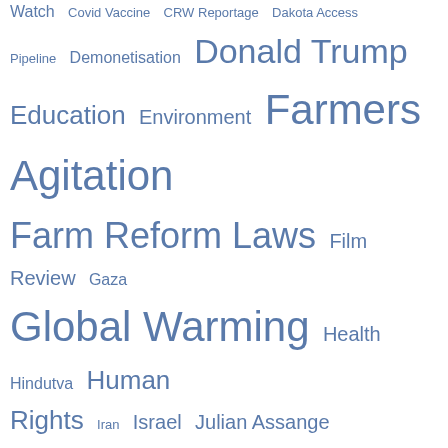[Figure (infographic): A tag cloud displaying various topic categories in different font sizes and shades of blue, indicating relative frequency or importance. Topics include Watch, Covid Vaccine, CRW Reportage, Dakota Access Pipeline, Demonetisation, Donald Trump, Education, Environment, Farmers Agitation, Farm Reform Laws, Film Review, Gaza, Global Warming, Health, Hindutva, Human Rights, Iran, Israel, Julian Assange, Kashmir, Life, Nuclear War, Palestine, Poetry, RSS, Sri Lanka, Standing Rock Sioux Protest, Syria, The Commons, Ukraine, US Election 2020, US Elections 2016, Venezuela, Yemen.]